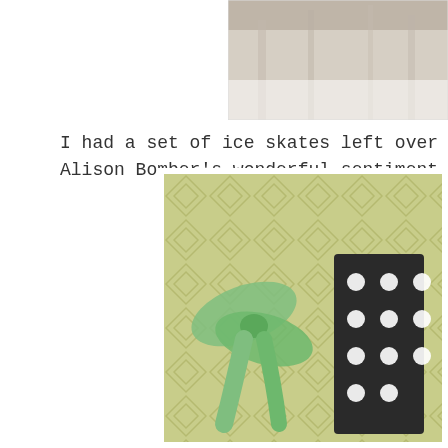[Figure (photo): Partial photo in top-right corner showing a wooden surface or background, cropped at the edge of the page.]
I had a set of ice skates left over Alison Bomber's wonderful sentiment s
[Figure (photo): Photo of a craft card with green diamond-patterned background paper, green ribbon bow, and black polka-dot embellishment, partially visible in the bottom-right corner.]